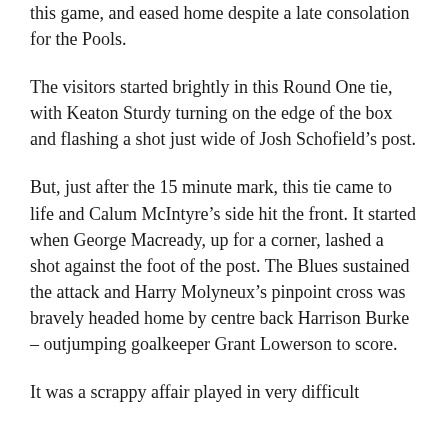this game, and eased home despite a late consolation for the Pools.
The visitors started brightly in this Round One tie, with Keaton Sturdy turning on the edge of the box and flashing a shot just wide of Josh Schofield’s post.
But, just after the 15 minute mark, this tie came to life and Calum McIntyre’s side hit the front. It started when George Macready, up for a corner, lashed a shot against the foot of the post. The Blues sustained the attack and Harry Molyneux’s pinpoint cross was bravely headed home by centre back Harrison Burke – outjumping goalkeeper Grant Lowerson to score.
It was a scrappy affair played in very difficult